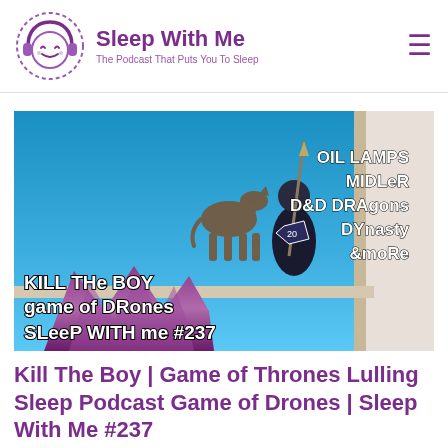Sleep With Me — The Podcast That Puts You To Sleep
[Figure (photo): Podcast episode thumbnail image showing a fantasy scene with a miniature figure holding a spear, a wooden horse silhouette, and purple amethyst crystal, with text overlays: 'OIL LAMPS MIDLER D&D DRAGONS DYNASTY &MORE' in upper right and 'KILL THE BOY GAME OF DRONES SLEEP WITH ME #237' in lower left, on a blue background.]
Kill The Boy | Game of Thrones Lulling Sleep Podcast Game of Drones | Sleep With Me #237